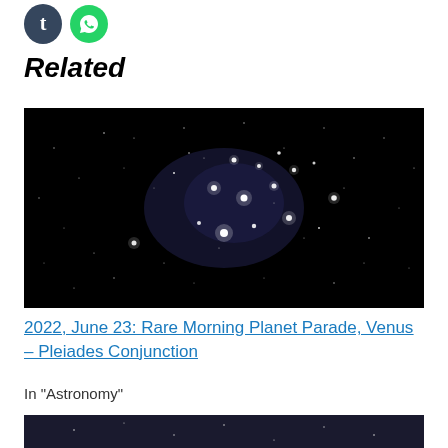[Figure (other): Social media share icons — Tumblr (dark blue circle with 't') and WhatsApp (green circle with phone/WhatsApp logo)]
Related
[Figure (photo): Night sky photograph showing the Pleiades star cluster — bright white stars against a black background with nebulosity visible]
2022, June 23: Rare Morning Planet Parade, Venus – Pleiades Conjunction
In "Astronomy"
[Figure (photo): Partial view of a second related article image (cropped at bottom of page)]